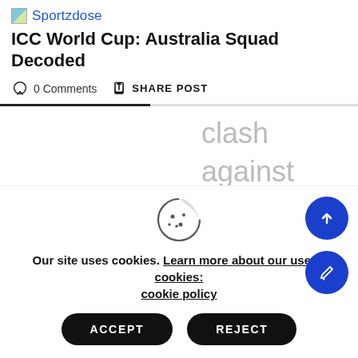Sportzdose
ICC World Cup: Australia Squad Decoded
0 Comments   SHARE POST
clash against the Champions Trophy
Our site uses cookies. Learn more about our use of cookies: cookie policy